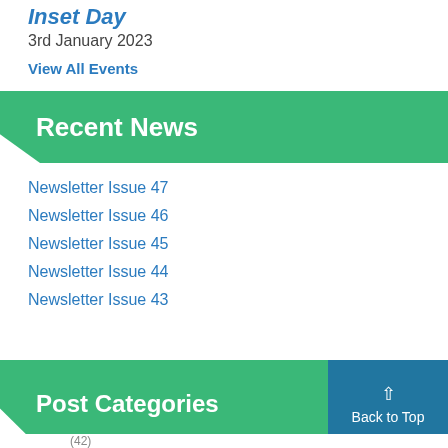Inset Day
3rd January 2023
View All Events
Recent News
Newsletter Issue 47
Newsletter Issue 46
Newsletter Issue 45
Newsletter Issue 44
Newsletter Issue 43
Post Categories
Back to Top